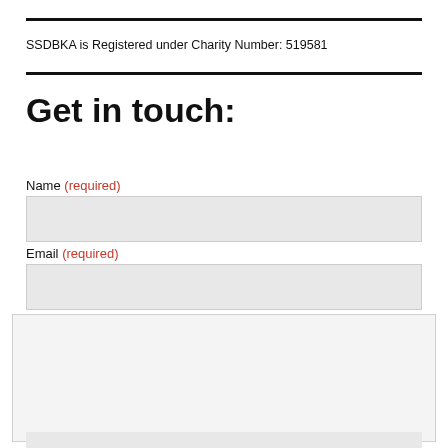SSDBKA is Registered under Charity Number: 519581
Get in touch:
Name (required)
Email (required)
Privacy & Cookies: This site uses cookies. By continuing to use this website, you agree to their use. To find out more, including how to control cookies, see here: Cookie Policy
Close and accept